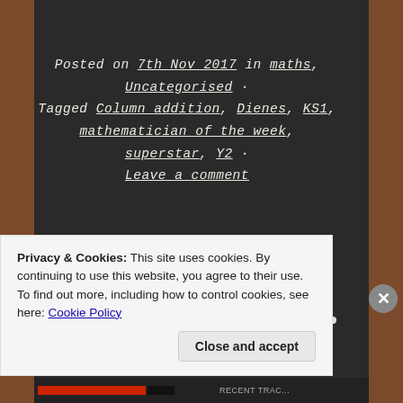Posted on 7th Nov 2017 in maths, Uncategorised · Tagged Column addition, Dienes, KS1, mathematician of the week, superstar, Y2 · Leave a comment
[Figure (illustration): A chalk-drawn horizontal white divider line on a blackboard]
Privacy & Cookies: This site uses cookies. By continuing to use this website, you agree to their use.
To find out more, including how to control cookies, see here: Cookie Policy
Close and accept